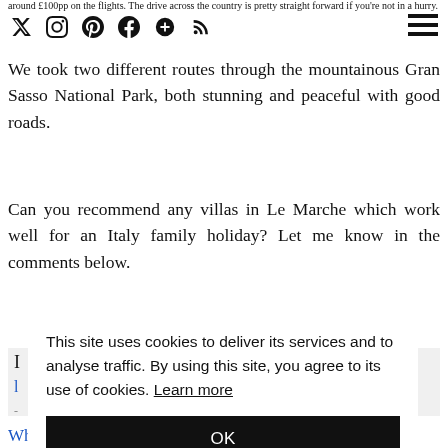around £100pp on the flights. The drive across the country is pretty straight forward if you're not in a hurry.
We took two different routes through the mountainous Gran Sasso National Park, both stunning and peaceful with good roads.
Can you recommend any villas in Le Marche which work well for an Italy family holiday? Let me know in the comments below.
This site uses cookies to deliver its services and to analyse traffic. By using this site, you agree to its use of cookies. Learn more
OK
What to see and do in Umbria with kids